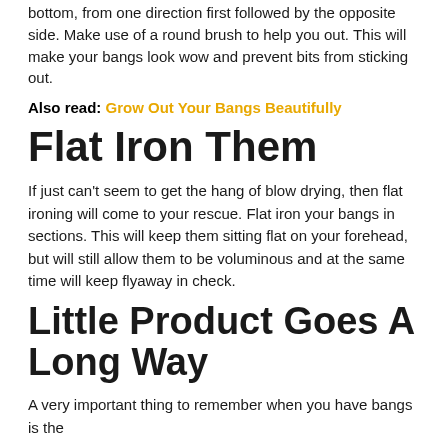bottom, from one direction first followed by the opposite side. Make use of a round brush to help you out. This will make your bangs look wow and prevent bits from sticking out.
Also read: Grow Out Your Bangs Beautifully
Flat Iron Them
If just can't seem to get the hang of blow drying, then flat ironing will come to your rescue. Flat iron your bangs in sections. This will keep them sitting flat on your forehead, but will still allow them to be voluminous and at the same time will keep flyaway in check.
Little Product Goes A Long Way
A very important thing to remember when you have bangs is the